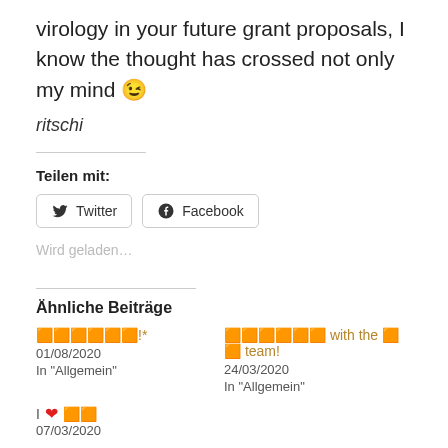virology in your future grant proposals, I know the thought has crossed not only my mind 😉
ritschi
Teilen mit:
Twitter  Facebook
Wird geladen...
Ähnliche Beiträge
🌍🌏🌐🌑🌒🌓!*
01/08/2020
In "Allgemein"
🌍🌏🌐🌑🌒 with the 🌐🌑 team!
24/03/2020
In "Allgemein"
I ❤️ 🌐
07/03/2020